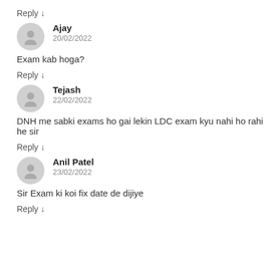Reply ↓
Ajay
20/02/2022
Exam kab hoga?
Reply ↓
Tejash
22/02/2022
DNH me sabki exams ho gai lekin LDC exam kyu nahi ho rahi he sir
Reply ↓
Anil Patel
23/02/2022
Sir Exam ki koi fix date de dijiye
Reply ↓